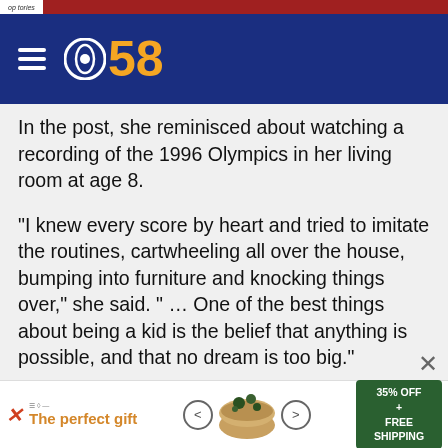CBS 58
In the post, she reminisced about watching a recording of the 1996 Olympics in her living room at age 8.
"I knew every score by heart and tried to imitate the routines, cartwheeling all over the house, bumping into furniture and knocking things over," she said. " … One of the best things about being a kid is the belief that anything is possible, and that no dream is too big."
Raisman also appeared to allude to her sexual abuse by USA Gymnastics team physician Larry Nassar and wondered what she would tell her younger self about
[Figure (screenshot): Advertisement banner: 'The perfect gift' with bowl image and '35% OFF + FREE SHIPPING' offer]